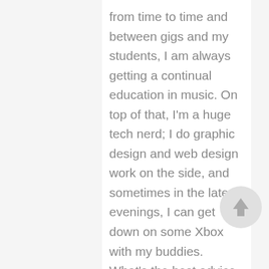from time to time and between gigs and my students, I am always getting a continual education in music. On top of that, I'm a huge tech nerd; I do graphic design and web design work on the side, and sometimes in the late evenings, I can get down on some Xbox with my buddies. What's the best advice you've received and what advice do you have for current graduates entering your career field? I think the most amazing advice that I received at some point is best paraphrased by Conan O'Brien. He said, "If you work really hard and you're kind, amazing things will